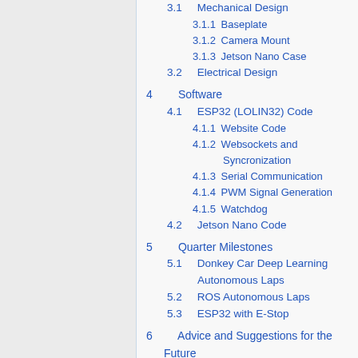3.1  Mechanical Design
3.1.1  Baseplate
3.1.2  Camera Mount
3.1.3  Jetson Nano Case
3.2  Electrical Design
4  Software
4.1  ESP32 (LOLIN32) Code
4.1.1  Website Code
4.1.2  Websockets and Syncronization
4.1.3  Serial Communication
4.1.4  PWM Signal Generation
4.1.5  Watchdog
4.2  Jetson Nano Code
5  Quarter Milestones
5.1  Donkey Car Deep Learning Autonomous Laps
5.2  ROS Autonomous Laps
5.3  ESP32 with E-Stop
6  Advice and Suggestions for the Future